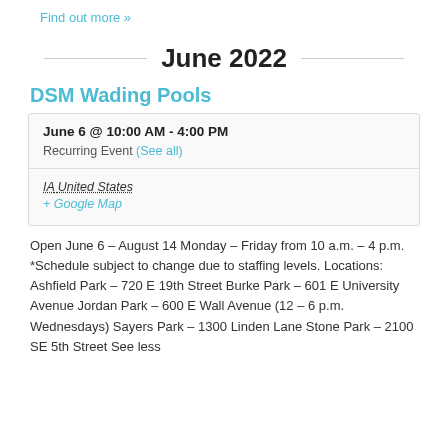Find out more »
June 2022
DSM Wading Pools
June 6 @ 10:00 AM - 4:00 PM
Recurring Event (See all)
IA United States + Google Map
Open June 6 – August 14 Monday – Friday from 10 a.m. – 4 p.m. *Schedule subject to change due to staffing levels. Locations: Ashfield Park – 720 E 19th Street Burke Park – 601 E University Avenue Jordan Park – 600 E Wall Avenue (12 – 6 p.m. Wednesdays) Sayers Park – 1300 Linden Lane Stone Park – 2100 SE 5th Street See less